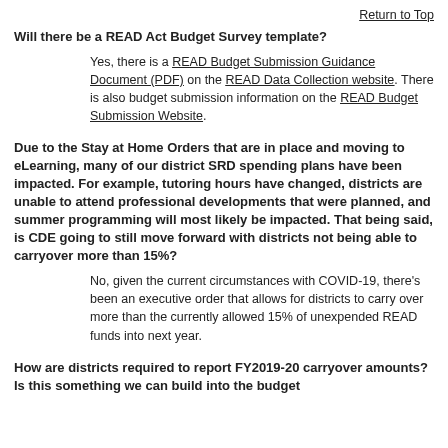Return to Top
Will there be a READ Act Budget Survey template?
Yes, there is a READ Budget Submission Guidance Document (PDF) on the READ Data Collection website. There is also budget submission information on the READ Budget Submission Website.
Due to the Stay at Home Orders that are in place and moving to eLearning, many of our district SRD spending plans have been impacted.  For example, tutoring hours have changed, districts are unable to attend professional developments that were planned, and summer programming will most likely be impacted.  That being said, is CDE going to still move forward with districts not being able to carryover more than 15%?
No, given the current circumstances with COVID-19, there’s been an executive order that allows for districts to carry over more than the currently allowed 15% of unexpended READ funds into next year.
How are districts required to report FY2019-20 carryover amounts? Is this something we can build into the budget